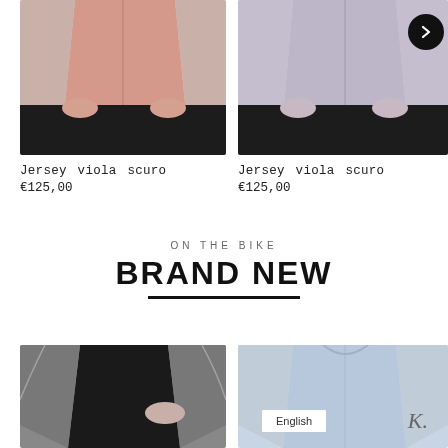[Figure (photo): Woman wearing pink cycling jersey with black shorts, torso view]
[Figure (photo): Woman wearing lavender/purple cycling jersey with black shorts, torso view. Navigation arrow button visible top right.]
Jersey viola scuro
€125,00
Jersey viola scuro
€125,00
ON THE BIKE
BRAND NEW
[Figure (photo): Woman wearing black sleeveless top, torso view]
[Figure (photo): Person wearing light blue cycling jersey with K. logo, English language button overlay visible]